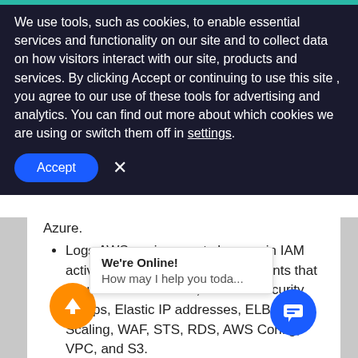We use tools, such as cookies, to enable essential services and functionality on our site and to collect data on how visitors interact with our site, products and services. By clicking Accept or continuing to use this site , you agree to our use of these tools for advertising and analytics. You can find out more about which cookies we are using or switch them off in settings.
Accept  X
Azure.
Logs AWS environment changes in IAM activity, user login activity, and events that occur in Amazon EC2, Network security groups, Elastic IP addresses, ELB, Auto Scaling, WAF, STS, RDS, AWS Config, VPC, and S3.
Provides insights on Microsoft Azure user activity and work security groups, ation gateways, traffic manager, DNS zones
We're Online! How may I help you toda...